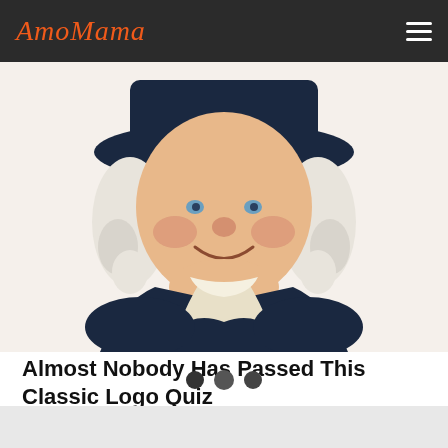AmoMama
[Figure (illustration): Illustration of the Quaker Oats man — a friendly, portly colonial-era figure with white curly hair, a wide-brimmed dark blue hat, a dark blue coat, and a white neck scarf/cravat, smiling warmly against a white background.]
Almost Nobody Has Passed This Classic Logo Quiz
WarpedSpeed